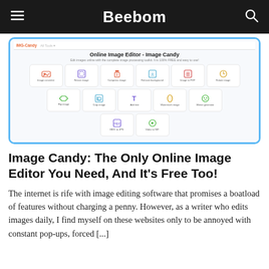Beebom
[Figure (screenshot): Screenshot of Image Candy online image editor website showing a grid of image editing tools including Image converter, Resize image, Compress image, Remove background, Image to PDF, Rotate image, Flip image, Crop image, Add text, Watermark image, Meme generator, HEIC to JPG, Video to GIF]
Image Candy: The Only Online Image Editor You Need, And It's Free Too!
The internet is rife with image editing software that promises a boatload of features without charging a penny. However, as a writer who edits images daily, I find myself on these websites only to be annoyed with constant pop-ups, forced [...]